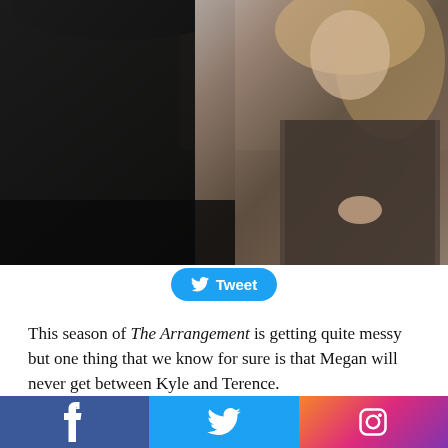[Figure (photo): Two people in conversation: person in black top seen from behind on the left, woman in textured dark dress with blonde hair on the right, in an interior setting]
[Figure (infographic): Twitter Tweet button with bird logo]
This season of The Arrangement is getting quite messy but one thing that we know for sure is that Megan will never get between Kyle and Terence.
[Figure (infographic): Social media share bar with Facebook, Twitter, and Instagram icons]